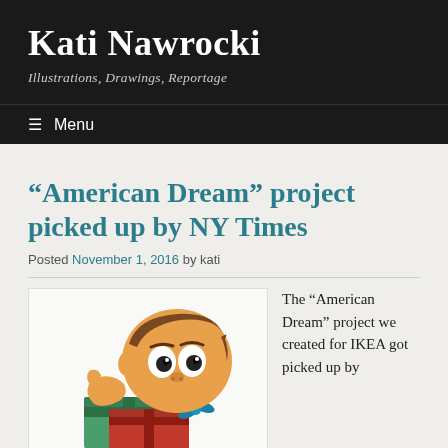Kati Nawrocki — Illustrations, Drawings, Reportage
“American Dream” project picked up by NY Times
Posted November 1, 2016 by kati
[Figure (illustration): Cartoon illustration of a boy with brown hair looking surprised at wrapped gift boxes]
The “American Dream” project we created for IKEA got picked up by